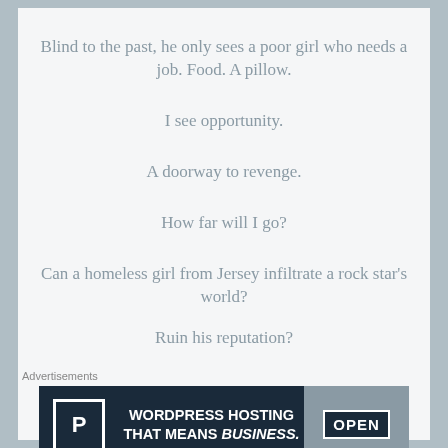Blind to the past, he only sees a poor girl who needs a job. Food. A pillow.
I see opportunity.
A doorway to revenge.
How far will I go?
Can a homeless girl from Jersey infiltrate a rock star's world?
Ruin his reputation?
Advertisements
[Figure (other): WordPress Hosting advertisement banner with dark navy background, a P logo in a white box, text 'WORDPRESS HOSTING THAT MEANS BUSINESS.' and an OPEN sign photo on the right]